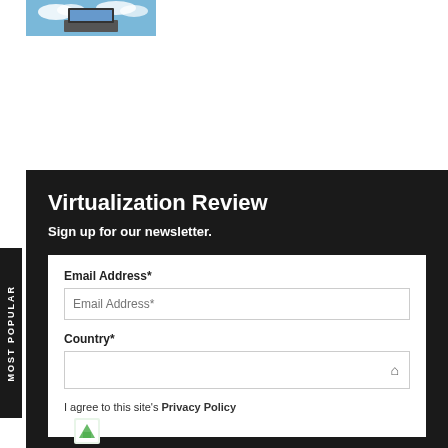[Figure (photo): Small thumbnail image of a laptop with clouds/sky in background]
Virtualization Review
Sign up for our newsletter.
Email Address*
Email Address*
Country*
I agree to this site's Privacy Policy
[Figure (illustration): Small green/white icon at bottom]
MOST POPULAR